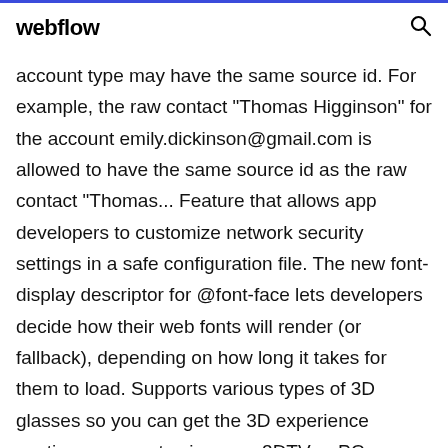webflow
account type may have the same source id. For example, the raw contact "Thomas Higginson" for the account emily.dickinson@gmail.com is allowed to have the same source id as the raw contact "Thomas... Feature that allows app developers to customize network security settings in a safe configuration file. The new font-display descriptor for @font-face lets developers decide how their web fonts will render (or fallback), depending on how long it takes for them to load. Supports various types of 3D glasses so you can get the 3D experience anytime you want using your 3DTV or PC. Various output format (Side by Side, Top and Bottom, Row Flipping) can output data to...